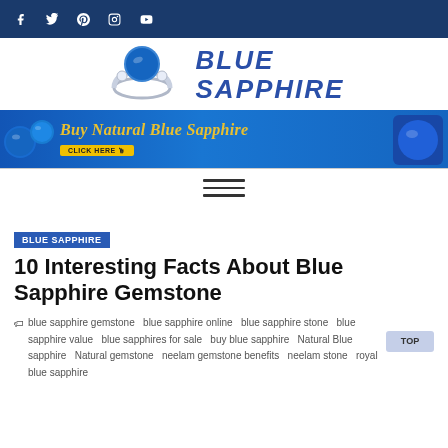Social media icons: Facebook, Twitter, Pinterest, Instagram, YouTube
[Figure (logo): Blue Sapphire website logo with diamond ring image and text BLUE SAPPHIRE]
[Figure (infographic): Banner advertisement: Buy Natural Blue Sapphire - CLICK HERE button, with blue sapphire gem images]
[Figure (other): Hamburger menu icon (three horizontal lines)]
BLUE SAPPHIRE
10 Interesting Facts About Blue Sapphire Gemstone
blue sapphire gemstone  blue sapphire online  blue sapphire stone  blue sapphire value  blue sapphires for sale  buy blue sapphire  Natural Blue sapphire  Natural gemstone  neelam gemstone benefits  neelam stone  royal blue sapphire